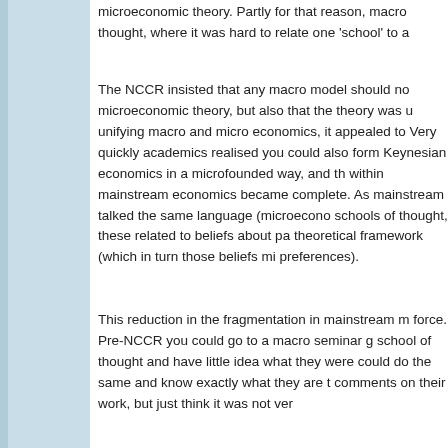microeconomic theory. Partly for that reason, macro thought, where it was hard to relate one 'school' to a
The NCCR insisted that any macro model should no microeconomic theory, but also that the theory was u unifying macro and micro economics, it appealed to Very quickly academics realised you could also form Keynesian economics in a microfounded way, and th within mainstream economics became complete. As mainstream talked the same language (microecono schools of thought, these related to beliefs about pa theoretical framework (which in turn those beliefs mi preferences).
This reduction in the fragmentation in mainstream m force. Pre-NCCR you could go to a macro seminar g school of thought and have little idea what they were could do the same and know exactly what they are t comments on their work, but just think it was not ver